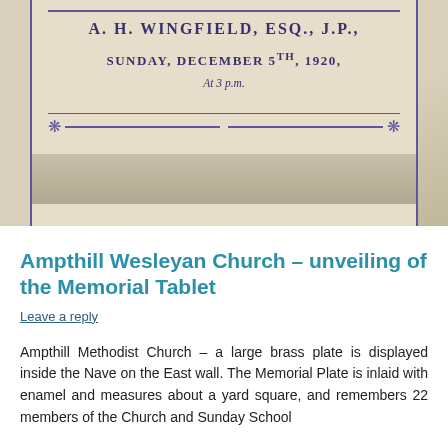[Figure (photo): Scanned photograph of an old document/programme on aged paper, showing text in decorative typeface: 'A. H. WINGFIELD, Esq., J.P.,' and 'SUNDAY, DECEMBER 5th, 1920,' and 'At 3 p.m.' with ornamental border lines and corner decorations, on a beige/cream aged-paper background.]
Ampthill Wesleyan Church – unveiling of the Memorial Tablet
Leave a reply
Ampthill Methodist Church – a large brass plate is displayed inside the Nave on the East wall. The Memorial Plate is inlaid with enamel and measures about a yard square, and remembers 22 members of the Church and Sunday School